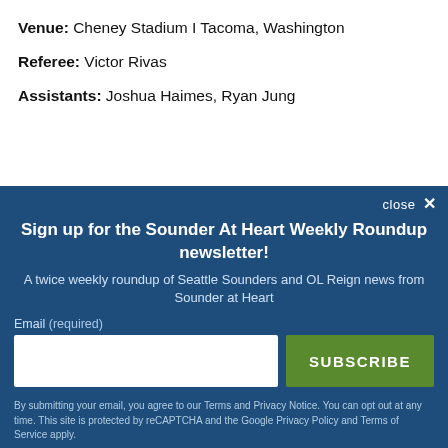Venue: Cheney Stadium I Tacoma, Washington
Referee: Victor Rivas
Assistants: Joshua Haimes, Ryan Jung
close ✕
Sign up for the Sounder At Heart Weekly Roundup newsletter!
A twice weekly roundup of Seattle Sounders and OL Reign news from Sounder at Heart
Email (required)
SUBSCRIBE
By submitting your email, you agree to our Terms and Privacy Notice. You can opt out at any time. This site is protected by reCAPTCHA and the Google Privacy Policy and Terms of Service apply.